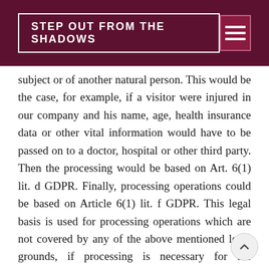STEP OUT FROM THE SHADOWS
subject or of another natural person. This would be the case, for example, if a visitor were injured in our company and his name, age, health insurance data or other vital information would have to be passed on to a doctor, hospital or other third party. Then the processing would be based on Art. 6(1) lit. d GDPR. Finally, processing operations could be based on Article 6(1) lit. f GDPR. This legal basis is used for processing operations which are not covered by any of the above mentioned legal grounds, if processing is necessary for the purposes of the legitimate interests pursued by our company or by a third party, except where such interests are overridden by the interests or fundamental rights and freedoms of the data subject which require protection of personal data. Such processing operations are particularly permissible because they have been specifically mentioned by the European legislator. He considered that a legitimate interest could be